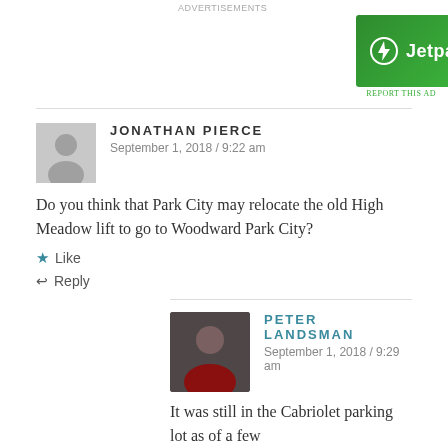[Figure (screenshot): Jetpack advertisement banner — green background with Jetpack logo and 'Secure Your Site' button]
JONATHAN PIERCE
September 1, 2018 / 9:22 am
Do you think that Park City may relocate the old High Meadow lift to go to Woodward Park City?
Like
Reply
PETER LANDSMAN
September 1, 2018 / 9:29 am
It was still in the Cabriolet parking lot as of a few